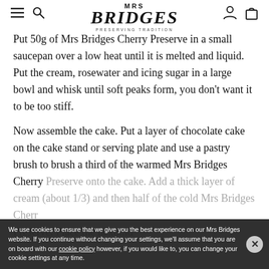MRS BRIDGES — PRESERVING TRADITION (navigation header)
Put 50g of Mrs Bridges Cherry Preserve in a small saucepan over a low heat until it is melted and liquid. Put the cream, rosewater and icing sugar in a large bowl and whisk until soft peaks form, you don't want it to be too stiff.
Now assemble the cake. Put a layer of chocolate cake on the cake stand or serving plate and use a pastry brush to brush a third of the warmed Mrs Bridges Cherry Preserve onto the cake. Add a thick layer of cream (about 1/3) and then half of the cold Mrs Bridges Cherry Preserve. Place the next...
We use cookies to ensure that we give you the best experience on our Mrs Bridges website. If you continue without changing your settings, we'll assume that you are on board with our cookie policy however, if you would like to, you can change your cookie settings at any time.